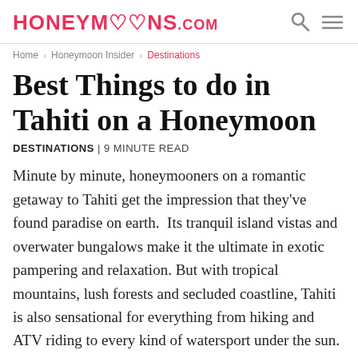HONEYMOONS.com
Home › Honeymoon Insider › Destinations
Best Things to do in Tahiti on a Honeymoon
DESTINATIONS | 9 MINUTE READ
Minute by minute, honeymooners on a romantic getaway to Tahiti get the impression that they've found paradise on earth.  Its tranquil island vistas and overwater bungalows make it the ultimate in exotic pampering and relaxation. But with tropical mountains, lush forests and secluded coastline, Tahiti is also sensational for everything from hiking and ATV riding to every kind of watersport under the sun.